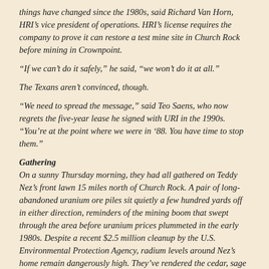things have changed since the 1980s, said Richard Van Horn, HRI's vice president of operations. HRI's license requires the company to prove it can restore a test mine site in Church Rock before mining in Crownpoint.
“If we can’t do it safely,” he said, “we won’t do it at all.”
The Texans aren’t convinced, though.
“We need to spread the message,” said Teo Saens, who now regrets the five-year lease he signed with URI in the 1990s. “You’re at the point where we were in ’88. You have time to stop them.”
Gathering
On a sunny Thursday morning, they had all gathered on Teddy Nez’s front lawn 15 miles north of Church Rock. A pair of long-abandoned uranium ore piles sit quietly a few hundred yards off in either direction, reminders of the mining boom that swept through the area before uranium prices plummeted in the early 1980s. Despite a recent $2.5 million cleanup by the U.S. Environmental Protection Agency, radium levels around Nez’s home remain dangerously high. They’ve rendered the cedar, sage and pion he used to treat his colon cancer, diagnosed 1 1/2 years ago, useless. A few miles to the south, URI’s New Mexico